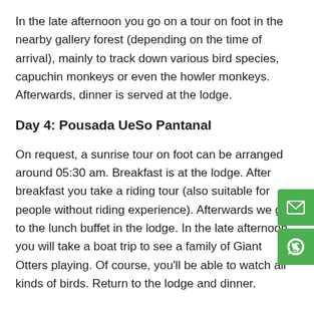In the late afternoon you go on a tour on foot in the nearby gallery forest (depending on the time of arrival), mainly to track down various bird species, capuchin monkeys or even the howler monkeys. Afterwards, dinner is served at the lodge.
Day 4: Pousada UeSo Pantanal
On request, a sunrise tour on foot can be arranged around 05:30 am. Breakfast is at the lodge. After breakfast you take a riding tour (also suitable for people without riding experience). Afterwards we go to the lunch buffet in the lodge. In the late afternoon you will take a boat trip to see a family of Giant Otters playing. Of course, you'll be able to watch all kinds of birds. Return to the lodge and dinner.